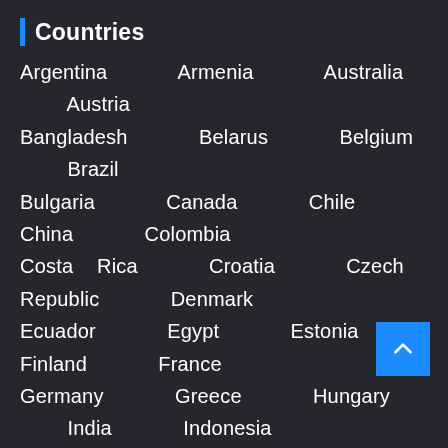Countries
Argentina  Armenia  Australia  Austria  Bangladesh  Belarus  Belgium  Brazil  Bulgaria  Canada  Chile  China  Colombia  Costa Rica  Croatia  Czech Republic  Denmark  Ecuador  Egypt  Estonia  Finland  France  Germany  Greece  Hungary  India  Indonesia  Ireland  Israel  Italy  Japan  Jordan  Kenya  Latvia  Lithuania  Luxembourg  Malaysia  Mauritius  Mexico  Morocco  Netherlands  New Zealand  Norway  Pakistan  Panama  Paraguay  Philippines  Poland  Portugal  Romania  Russia  Saudi Arabia  Serbia  Singapore  South Africa  South Korea  Spain